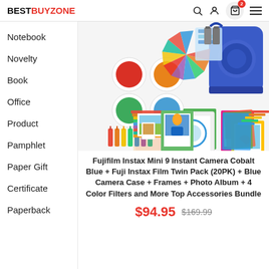BESTBUYZONE
Notebook
Novelty
Book
Office
Product
Pamphlet
Paper Gift
Certificate
Paperback
[Figure (photo): Fujifilm Instax Mini 9 camera accessories bundle including cobalt blue camera case, 4 color filters (red, orange, green, blue), decorative stickers, photo frames in various colors, and photo prints]
Fujifilm Instax Mini 9 Instant Camera Cobalt Blue + Fuji Instax Film Twin Pack (20PK) + Blue Camera Case + Frames + Photo Album + 4 Color Filters and More Top Accessories Bundle
$94.95  $169.99